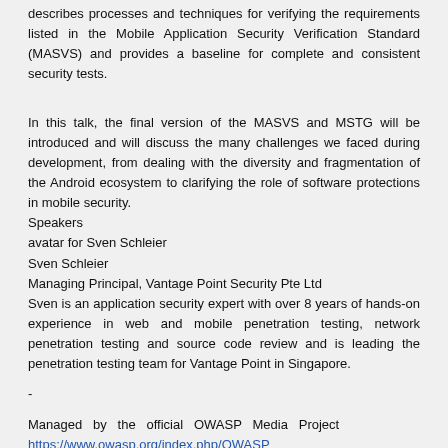describes processes and techniques for verifying the requirements listed in the Mobile Application Security Verification Standard (MASVS) and provides a baseline for complete and consistent security tests.
In this talk, the final version of the MASVS and MSTG will be introduced and will discuss the many challenges we faced during development, from dealing with the diversity and fragmentation of the Android ecosystem to clarifying the role of software protections in mobile security.
Speakers
avatar for Sven Schleier
Sven Schleier
Managing Principal, Vantage Point Security Pte Ltd
Sven is an application security expert with over 8 years of hands-on experience in web and mobile penetration testing, network penetration testing and source code review and is leading the penetration testing team for Vantage Point in Singapore.
-
Managed by the official OWASP Media Project
https://www.owasp.org/index.php/OWASP